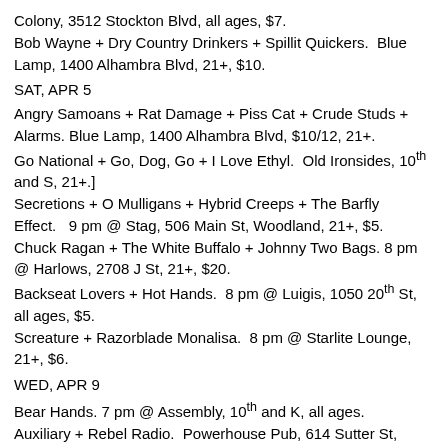Colony, 3512 Stockton Blvd, all ages, $7.
Bob Wayne + Dry Country Drinkers + Spillit Quickers.  Blue Lamp, 1400 Alhambra Blvd, 21+, $10.
SAT, APR 5
Angry Samoans + Rat Damage + Piss Cat + Crude Studs + Alarms.  Blue Lamp, 1400 Alhambra Blvd, $10/12, 21+.
Go National + Go, Dog, Go + I Love Ethyl.  Old Ironsides, 10th and S, 21+.]
Secretions + O Mulligans + Hybrid Creeps + The Barfly Effect.   9 pm @ Stag, 506 Main St, Woodland, 21+, $5.
Chuck Ragan + The White Buffalo + Johnny Two Bags. 8 pm @ Harlows, 2708 J St, 21+, $20.
Backseat Lovers + Hot Hands.  8 pm @ Luigis, 1050 20th St, all ages, $5.
Screature + Razorblade Monalisa.  8 pm @ Starlite Lounge, 21+, $6.
WED, APR 9
Bear Hands. 7 pm @ Assembly, 10th and K, all ages.
Auxiliary + Rebel Radio.  Powerhouse Pub, 614 Sutter St, Folsom, 21+, $5.
THUR, APR 10
The Virus + Evacuate + Bad Engrish + Cold Feelings + Resilience + Acoustic Phots Café Colony/Colony, 3512 Stockton Blvd, $10, all...